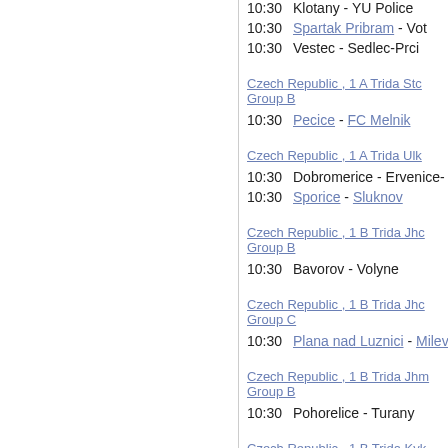10:30  Klotany - YU Police
10:30  Spartak Pribram - Vot
10:30  Vestec - Sedlec-Prci
Czech Republic , 1 A Trida Stc Group B
10:30  Pecice - FC Melnik
Czech Republic , 1 A Trida Ulk
10:30  Dobromerice - Ervenice-
10:30  Sporice - Sluknov
Czech Republic , 1 B Trida Jhc Group B
10:30  Bavorov - Volyne
Czech Republic , 1 B Trida Jhc Group C
10:30  Plana nad Luznici - Milev
Czech Republic , 1 B Trida Jhm Group B
10:30  Pohorelice - Turany
Czech Republic , 1 B Trida Kvk